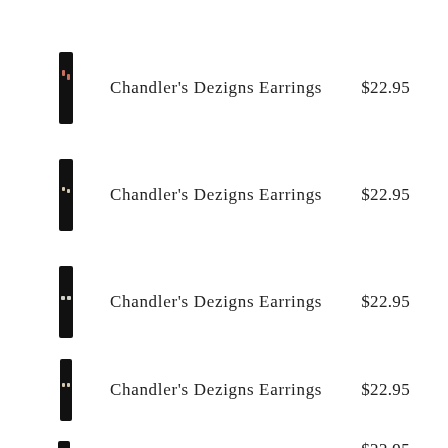[Figure (photo): Small dark rectangular earring product image]
Chandler's Dezigns Earrings
$22.95
[Figure (photo): Small dark rectangular earring product image]
Chandler's Dezigns Earrings
$22.95
[Figure (photo): Small dark rectangular earring product image]
Chandler's Dezigns Earrings
$22.95
[Figure (photo): Small dark rectangular earring product image]
Chandler's Dezigns Earrings
$22.95
[Figure (photo): Small dark rectangular earring product image]
$22.95